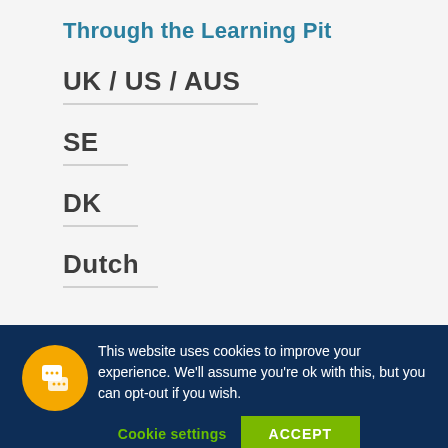Through the Learning Pit
UK / US / AUS
SE
DK
Dutch
This website uses cookies to improve your experience. We'll assume you're ok with this, but you can opt-out if you wish.
Cookie settings
ACCEPT